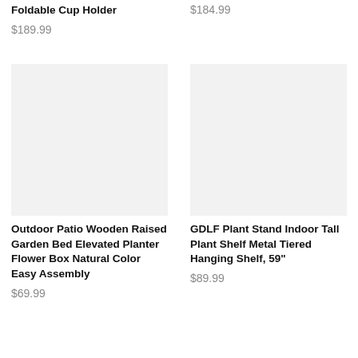Foldable Cup Holder
$189.99
$184.99
[Figure (photo): Product image placeholder for Outdoor Patio Wooden Raised Garden Bed]
Outdoor Patio Wooden Raised Garden Bed Elevated Planter Flower Box Natural Color Easy Assembly
$69.99
[Figure (photo): Product image placeholder for GDLF Plant Stand Indoor Tall Plant Shelf Metal Tiered Hanging Shelf]
GDLF Plant Stand Indoor Tall Plant Shelf Metal Tiered Hanging Shelf, 59"
$89.99